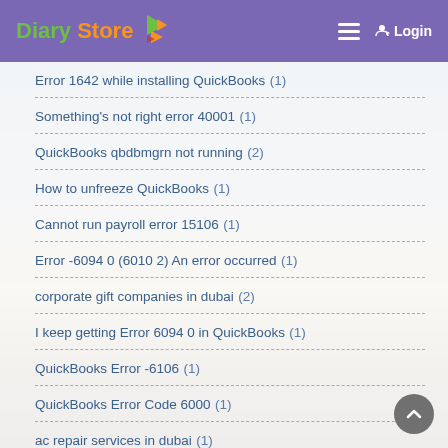Diary Store — Login
Error 1642 while installing QuickBooks (1)
Something's not right error 40001 (1)
QuickBooks qbdbmgrn not running (2)
How to unfreeze QuickBooks (1)
Cannot run payroll error 15106 (1)
Error -6094 0 (6010 2) An error occurred (1)
corporate gift companies in dubai (2)
I keep getting Error 6094 0 in QuickBooks (1)
QuickBooks Error -6106 (1)
QuickBooks Error Code 6000 (1)
ac repair services in dubai (1)
#quickbooks service (31)